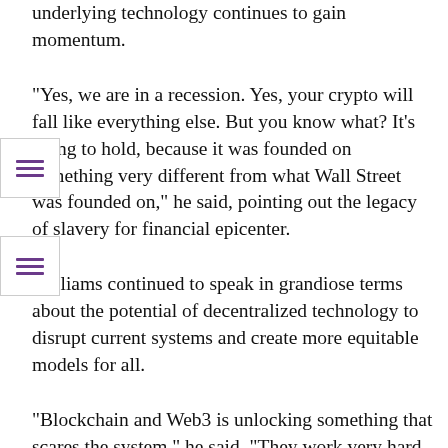underlying technology continues to gain momentum.
“Yes, we are in a recession. Yes, your crypto will fall like everything else. But you know what? It’s going to hold, because it was founded on something very different from what Wall Street was founded on,” he said, pointing out the legacy of slavery for financial epicenter.
Williams continued to speak in grandiose terms about the potential of decentralized technology to disrupt current systems and create more equitable models for all.
“Blockchain and Web3 is unlocking something that scares the system,” he said. “They work very hard to put laws in place to try to legislate around your concept, your idea. You are all the most powerful human beings on this planet. You don’t know that yet.